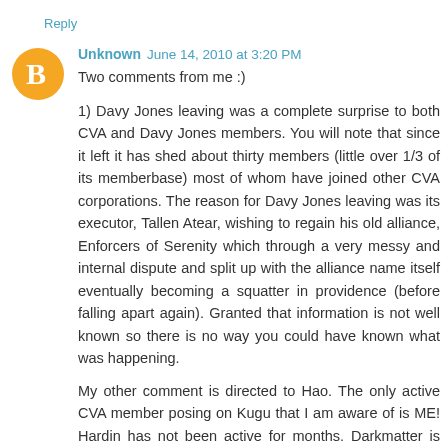Reply
Unknown  June 14, 2010 at 3:20 PM
Two comments from me :)
1) Davy Jones leaving was a complete surprise to both CVA and Davy Jones members. You will note that since it left it has shed about thirty members (little over 1/3 of its memberbase) most of whom have joined other CVA corporations. The reason for Davy Jones leaving was its executor, Tallen Atear, wishing to regain his old alliance, Enforcers of Serenity which through a very messy and internal dispute and split up with the alliance name itself eventually becoming a squatter in providence (before falling apart again). Granted that information is not well known so there is no way you could have known what was happening.
My other comment is directed to Hao. The only active CVA member posing on Kugu that I am aware of is ME! Hardin has not been active for months. Darkmatter is NOT and